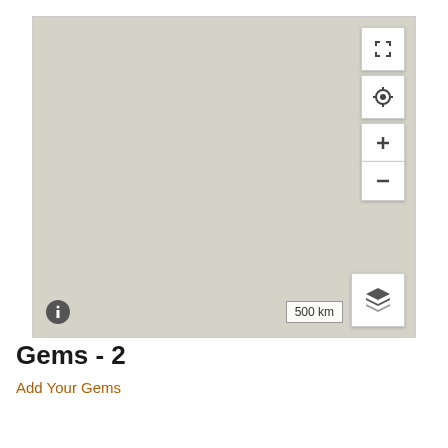[Figure (map): Interactive map with gray background showing no markers. Map controls visible on right side: fullscreen button, locate/GPS button, zoom in (+) and zoom out (-) buttons. Layers button in bottom right. Info button (i) in bottom left. Scale bar showing 500 km at bottom.]
Gems - 2
Add Your Gems